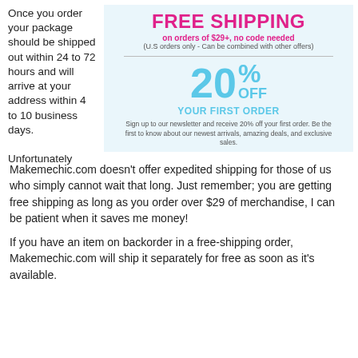Once you order your package should be shipped out within 24 to 72 hours and will arrive at your address within 4 to 10 business days.

Unfortunately
[Figure (infographic): Promotional banner with two offers: FREE SHIPPING on orders of $29+, no code needed (U.S orders only - Can be combined with other offers) and 20% OFF YOUR FIRST ORDER with newsletter signup.]
Makemechic.com doesn't offer expedited shipping for those of us who simply cannot wait that long. Just remember; you are getting free shipping as long as you order over $29 of merchandise, I can be patient when it saves me money!
If you have an item on backorder in a free-shipping order, Makemechic.com will ship it separately for free as soon as it's available.